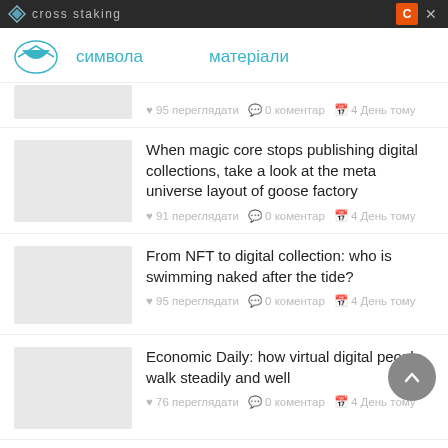cross staking
символа   матеріали
95 переглядати  0 коментар  4 День тому
When magic core stops publishing digital collections, take a look at the meta universe layout of goose factory
91 переглядати  0 коментар  4 День тому
From NFT to digital collection: who is swimming naked after the tide?
95 переглядати  0 коментар  4 День тому
Economic Daily: how virtual digital people walk steadily and well
76 переглядати  0 коментар  4 День тому
A16z: what are the new opportunities for web3 in a bear market?